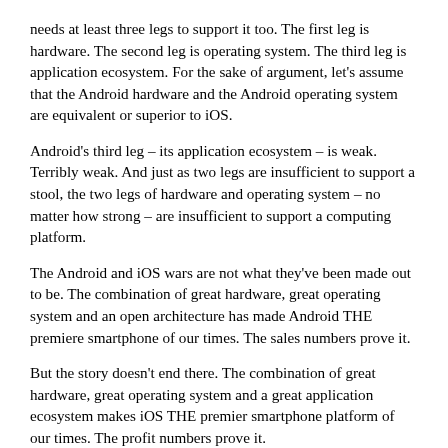needs at least three legs to support it too. The first leg is hardware. The second leg is operating system. The third leg is application ecosystem. For the sake of argument, let's assume that the Android hardware and the Android operating system are equivalent or superior to iOS.
Android's third leg – its application ecosystem – is weak. Terribly weak. And just as two legs are insufficient to support a stool, the two legs of hardware and operating system – no matter how strong – are insufficient to support a computing platform.
The Android and iOS wars are not what they've been made out to be. The combination of great hardware, great operating system and an open architecture has made Android THE premiere smartphone of our times. The sales numbers prove it.
But the story doesn't end there. The combination of great hardware, great operating system and a great application ecosystem makes iOS THE premier smartphone platform of our times. The profit numbers prove it.
Android aspires to be a great device. iOS aspires to be a great platform. Both have achieved their objectives – which